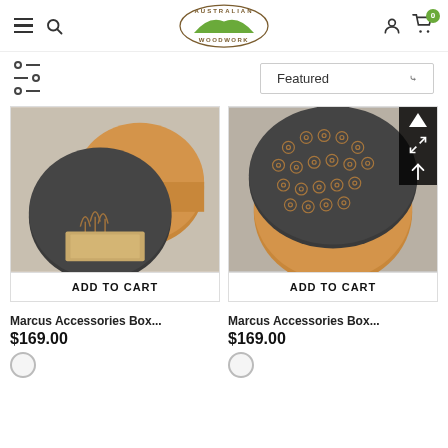Australian Woodwork — navigation header with hamburger menu, search, logo, user icon, cart (0)
Featured (sort dropdown)
[Figure (photo): Round wooden accessories box with dark grey lid featuring engraved tree design, open to show contents, with kraft packaging box underneath, displayed on rustic wood surface. Button: ADD TO CART]
[Figure (photo): Round wooden accessories box with dark lid featuring engraved floral/clover pattern, displayed on rustic wood surface. Button: ADD TO CART]
Marcus Accessories Box...
$169.00
Marcus Accessories Box...
$169.00